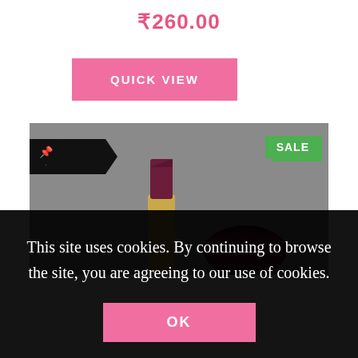₹260.00
QUICK VIEW
[Figure (photo): Product photo of a dark burgundy/plum lipstick with gold casing (open) and its round cap, displayed on a grey background. There is a black ribbon/pin badge in the upper left corner and a green 'SALE' badge in the upper right corner.]
This site uses cookies. By continuing to browse the site, you are agreeing to our use of cookies.
OK